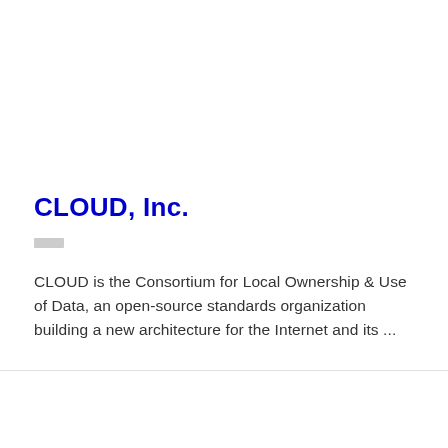CLOUD, Inc.
CLOUD is the Consortium for Local Ownership & Use of Data, an open-source standards organization building a new architecture for the Internet and its ...